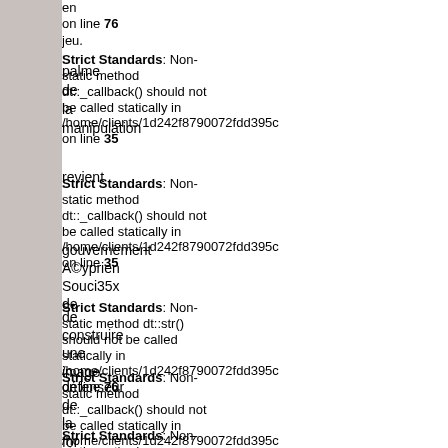en
on line 76
jeu.
Strict Standards: Non-static method dt::_callback() should not be called statically in /home/clients/1d242f8790072fdd395c on line 35
manipulation
revient
Strict Standards: Non-static method dt::_callback() should not be called statically in /home/clients/1d242f8790072fdd395c on line 35
gouvernement
A©yprien
Souci35x
de
Strict Standards: Non-static method dt::str() should not be called statically in /home/clients/1d242f8790072fdd395c on line 76
de
construire
une
image
Strict Standards: Non-static method dt::_callback() should not be called statically in /home/clients/1d242f8790072fdd395c on line 35
défenseur
de
la
for
au
Strict Standards: Non-static method dt:: Non-static method